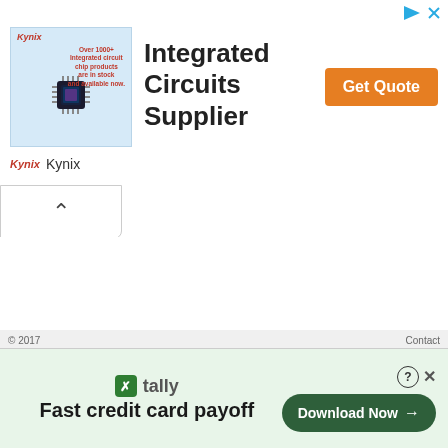[Figure (infographic): Kynix Integrated Circuits Supplier advertisement banner with chip image, 'Get Quote' orange button, and close/arrow controls at top right]
[Figure (infographic): Tally app advertisement at bottom: 'Fast credit card payoff' with green Download Now button and close controls]